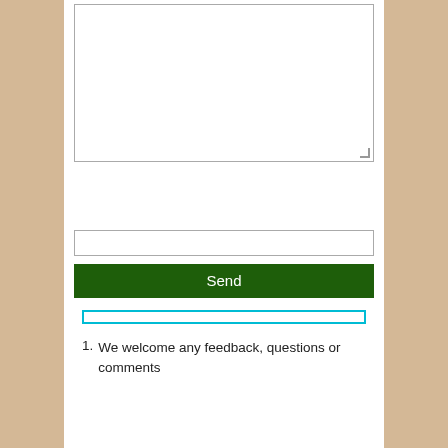[Figure (screenshot): A textarea input box with resize handle in bottom-right corner]
[Figure (screenshot): A text input field (single line)]
[Figure (screenshot): A dark green Send button]
[Figure (screenshot): A cyan/light-blue outlined progress or input bar]
We welcome any feedback, questions or comments